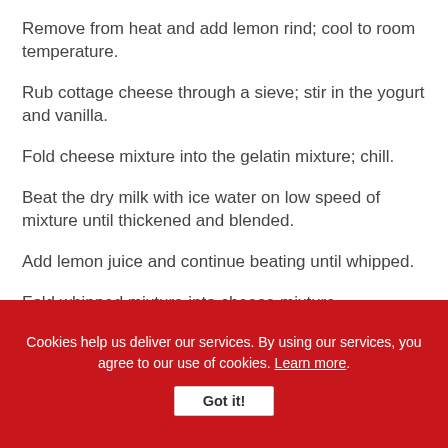Remove from heat and add lemon rind; cool to room temperature.
Rub cottage cheese through a sieve; stir in the yogurt and vanilla.
Fold cheese mixture into the gelatin mixture; chill.
Beat the dry milk with ice water on low speed of mixture until thickened and blended.
Add lemon juice and continue beating until whipped.
Fold whipped mixture into cheese mixture.
Cookies help us deliver our services. By using our services, you agree to our use of cookies. Learn more. Got it!